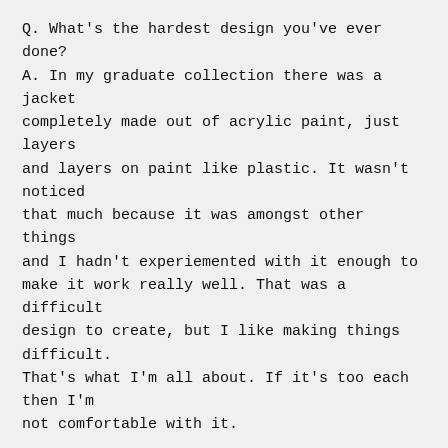Q. What's the hardest design you've ever done? A. In my graduate collection there was a jacket completely made out of acrylic paint, just layers and layers on paint like plastic. It wasn't noticed that much because it was amongst other things and I hadn't experiemented with it enough to make it work really well. That was a difficult design to create, but I like making things difficult. That's what I'm all about. If it's too each then I'm not comfortable with it.
7 NOV 2012. 14:45
Q. If you were to create a masterpiece that summed up you and your brand what would it involve? What object would you paint it on? A. I think it would be some kind of classic portraiture. I'd do it on a canvas not a jacket. It would be like of Dorian Gray or something!